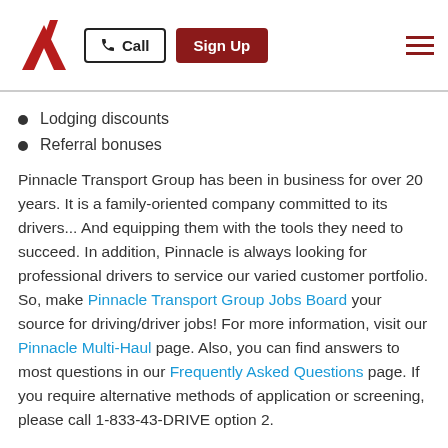Call | Sign Up
Lodging discounts
Referral bonuses
Pinnacle Transport Group has been in business for over 20 years. It is a family-oriented company committed to its drivers... And equipping them with the tools they need to succeed. In addition, Pinnacle is always looking for professional drivers to service our varied customer portfolio. So, make Pinnacle Transport Group Jobs Board your source for driving/driver jobs! For more information, visit our Pinnacle Multi-Haul page. Also, you can find answers to most questions in our Frequently Asked Questions page. If you require alternative methods of application or screening, please call 1-833-43-DRIVE option 2.